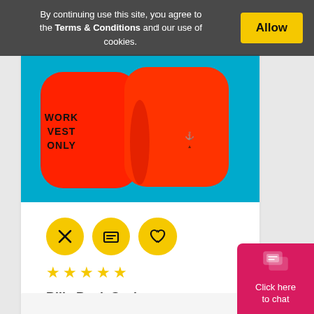By continuing use this site, you agree to the Terms & Conditions and our use of cookies.
Allow
[Figure (photo): Red Billy Pugh Seahorse WVO-50 Work Vest on blue background, with text 'WORK VEST ONLY' printed on the vest]
[Figure (infographic): Three yellow circle icon buttons: shuffle/compare icon, message/chat icon, heart/wishlist icon]
★★★★★
Billy Pugh Seahorse WVO-50 Work Vest
[Figure (infographic): Chat widget button in pink/red at bottom right corner with chat bubble icon and text 'Click here to chat']